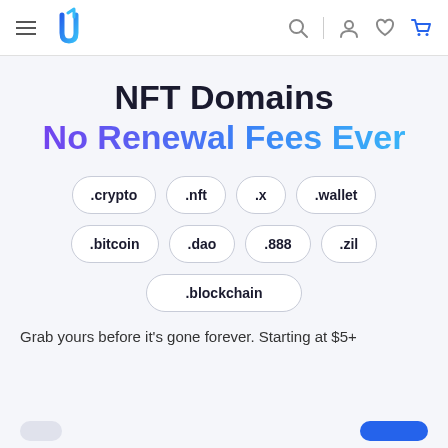[Figure (logo): Unstoppable Domains navigation bar with hamburger menu, blue logo icon, search, user, heart, and cart icons]
NFT Domains
No Renewal Fees Ever
.crypto
.nft
.x
.wallet
.bitcoin
.dao
.888
.zil
.blockchain
Grab yours before it's gone forever. Starting at $5+